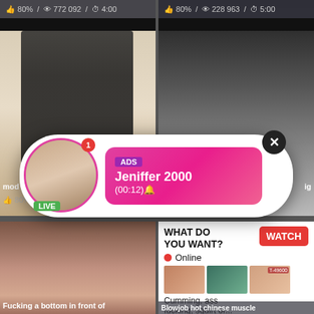[Figure (screenshot): Video thumbnail left: male figure in black shirt against white background, with dark bar at top. Meta bar shows 80% / 772 092 / 4:00]
[Figure (screenshot): Video thumbnail right: athletic male torso, with dark bar at top. Meta bar shows 80% / 228 963 / 5:00]
[Figure (screenshot): Popup ad overlay: circular avatar with LIVE badge and notification badge, pink gradient content area with ADS badge, name Jeniffer 2000, time (00:12), close X button]
[Figure (screenshot): Bottom left video thumbnail: woman, label 'Fucking a bottom in front of']
[Figure (screenshot): Bottom right ad panel: WHAT DO YOU WANT? with WATCH button, Online indicator, three mini thumbnails, text 'Cumming, ass fucking, squirt or...', ADS label, close X. Bottom label 'Blowjob hot chinese muscle']